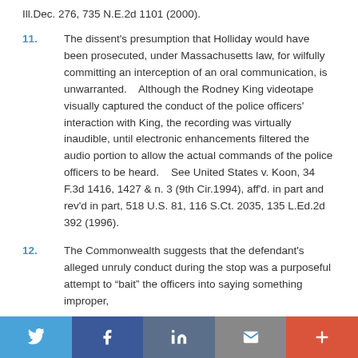Ill.Dec. 276, 735 N.E.2d 1101 (2000).
11.    The dissent's presumption that Holliday would have been prosecuted, under Massachusetts law, for wilfully committing an interception of an oral communication, is unwarranted.    Although the Rodney King videotape visually captured the conduct of the police officers' interaction with King, the recording was virtually inaudible, until electronic enhancements filtered the audio portion to allow the actual commands of the police officers to be heard.    See United States v. Koon, 34 F.3d 1416, 1427 & n. 3 (9th Cir.1994), aff'd. in part and rev'd in part, 518 U.S. 81, 116 S.Ct. 2035, 135 L.Ed.2d 392 (1996).
12.    The Commonwealth suggests that the defendant's alleged unruly conduct during the stop was a purposeful attempt to “bait” the officers into saying something improper,
Social sharing bar: Twitter, Facebook, LinkedIn, Email, More